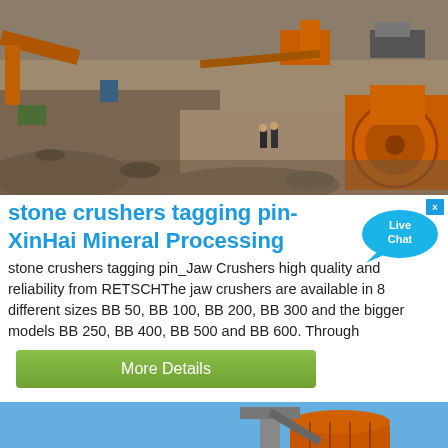[Figure (photo): Aerial/elevated view of a mining or quarry site with orange heavy machinery (jaw crusher), conveyor equipment, piles of earth and rock, and two workers visible in the middle of the site. Brown dusty terrain.]
stone crushers tagging pin-XinHai Mineral Processing
stone crushers tagging pin_Jaw Crushers high quality and reliability from RETSCHThe jaw crushers are available in 8 different sizes BB 50, BB 100, BB 200, BB 300 and the bigger models BB 250, BB 400, BB 500 and BB 600. Through
[Figure (other): Live Chat speech bubble button widget in cyan/blue color with white text reading 'Live Chat' and a small X close button]
[Figure (photo): Outdoor photo of industrial mining/crushing equipment: large orange cylindrical tank/silo and tower/conveyor structure against a blue sky, surrounded by rocky terrain.]